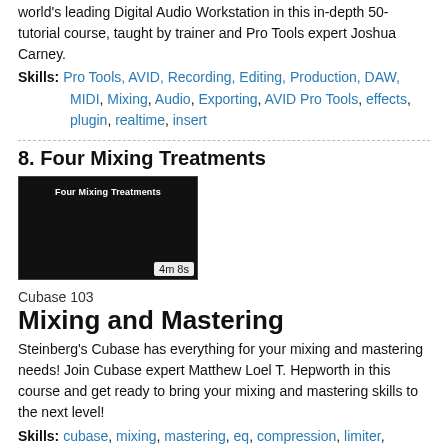world's leading Digital Audio Workstation in this in-depth 50-tutorial course, taught by trainer and Pro Tools expert Joshua Carney.
Skills: Pro Tools, AVID, Recording, Editing, Production, DAW, MIDI, Mixing, Audio, Exporting, AVID Pro Tools, effects, plugin, realtime, insert
8. Four Mixing Treatments
[Figure (screenshot): Video thumbnail showing 'Four Mixing Treatments' title on dark background with duration badge '4m 8s']
Cubase 103
Mixing and Mastering
Steinberg's Cubase has everything for your mixing and mastering needs! Join Cubase expert Matthew Loel T. Hepworth in this course and get ready to bring your mixing and mastering skills to the next level!
Skills: cubase, mixing, mastering, eq, compression, limiter, loudness, Matt Hepworth, Hepworth, Matt, Steinberg, Cubase 11, effects, pan, level, presets